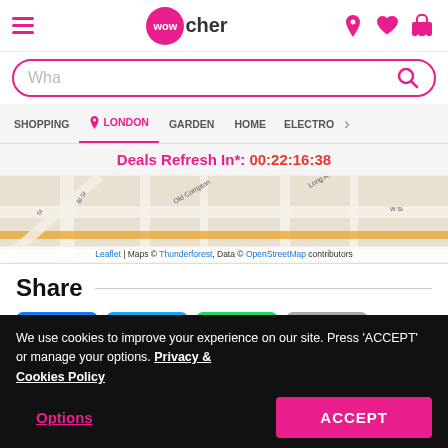Wowcher navigation header with hamburger menu, logo, location pin, heart, and cart icons
Wha (search input placeholder)
SHOPPING | LONDON | GARDEN | HOME | ELECTRO >
Deals Refresh In*: 00:22:16:38
[Figure (map): Street map showing London area with roads including Old Compton St, Long Acre. Map data from Leaflet, Thunderforest, OpenStreetMap.]
Leaflet | Maps © Thunderforest, Data © OpenStreetMap contributors
Share
[Figure (infographic): Four social share buttons: Facebook (blue), Twitter (blue), WhatsApp (green), Email (grey)]
We use cookies to improve your experience on our site. Press 'ACCEPT' or manage your options. Privacy & Cookies Policy
Options
ACCEPT